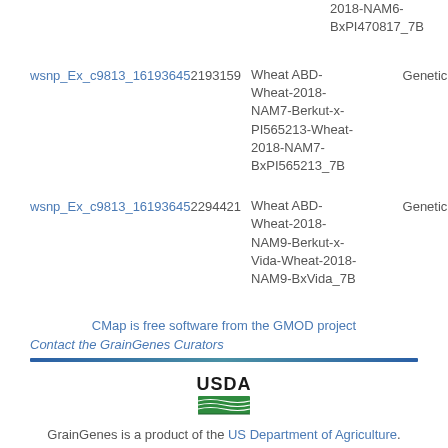2018-NAM6-BxPI470817_7B
| SNP | Position | Map Name | Type |
| --- | --- | --- | --- |
| wsnp_Ex_c9813_16193645 | 2193159 | Wheat ABD-Wheat-2018-NAM7-Berkut-x-PI565213-Wheat-2018-NAM7-BxPI565213_7B | Genetic |
| wsnp_Ex_c9813_16193645 | 2294421 | Wheat ABD-Wheat-2018-NAM9-Berkut-x-Vida-Wheat-2018-NAM9-BxVida_7B | Genetic |
CMap is free software from the GMOD project
Contact the GrainGenes Curators
[Figure (logo): USDA logo with green field graphic and USDA text]
GrainGenes is a product of the US Department of Agriculture.